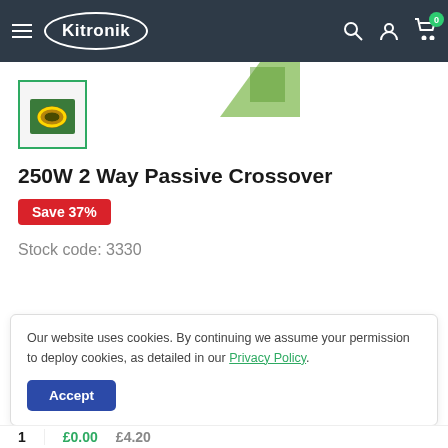Kitronik
[Figure (photo): Thumbnail of 250W 2 Way Passive Crossover PCB component with green/yellow coil, shown in a green-bordered box]
250W 2 Way Passive Crossover
Save 37%
Stock code: 3330
Our website uses cookies. By continuing we assume your permission to deploy cookies, as detailed in our Privacy Policy.
Accept